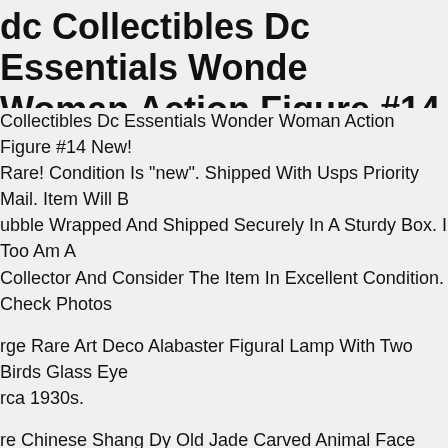dc Collectibles Dc Essentials Wonder Woman Action Figure #14 New! Rare!
Collectibles Dc Essentials Wonder Woman Action Figure #14 New! Rare! Condition Is "new". Shipped With Usps Priority Mail. Item Will Be Bubble Wrapped And Shipped Securely In A Sturdy Box. I Too Am A Collector And Consider The Item In Excellent Condition. Check Photos
rge Rare Art Deco Alabaster Figural Lamp With Two Birds Glass Eyes Circa 1930s.
re Chinese Shang Dy Old Jade Carved Animal Face "axe" Figure Length 18.0 Cm. Approximate Size Cm Length 18.0 Cm Width 9.5 Cmheight 0. If You Have Any Doubt About The Detail, You Can Request Special Photos. We Will Do Our Best To Solve It.
halo 2 Pink Spartan Action Figure Brand New Sealed In Box Joyride Studios Rare . Joyride Studios. Bungie Studios.
ntique African Wood Cane Walking Stick Carved With Figures 1800